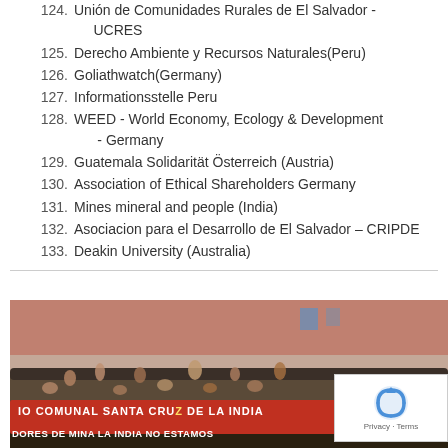124. Unión de Comunidades Rurales de El Salvador - UCRES
125. Derecho Ambiente y Recursos Naturales(Peru)
126. Goliathwatch(Germany)
127. Informationsstelle Peru
128. WEED - World Economy, Ecology & Development - Germany
129. Guatemala Solidarität Österreich (Austria)
130. Association of Ethical Shareholders Germany
131. Mines mineral and people (India)
132. Asociacion para el Desarrollo de El Salvador - CRIPDE
133. Deakin University (Australia)
[Figure (photo): A crowd of protesters holding a banner that reads 'IO COMUNAL SANTA CRUZ DE LA INDIA' and 'DORES DE MINA LA INDIA NO ESTAMOS' with partial text cut off, people raising fists in the air. A reCAPTCHA privacy widget is overlaid in the bottom right corner.]